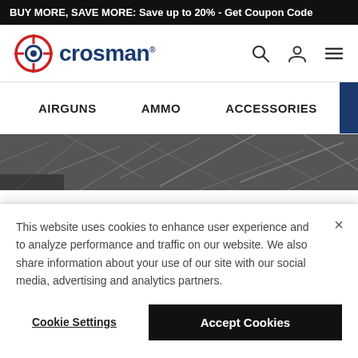BUY MORE, SAVE MORE: Save up to 20% - Get Coupon Code
[Figure (logo): Crosman logo: red crosshair target icon with dark blue 'crosman' wordmark]
[Figure (infographic): Navigation bar with AIRGUNS, AMMO, ACCESSORIES menu items and a dark blue shopping cart box with 0 badge]
[Figure (photo): Black and white hero image showing camouflage/grass texture background]
This website uses cookies to enhance user experience and to analyze performance and traffic on our website. We also share information about your use of our site with our social media, advertising and analytics partners.
Cookie Settings
Accept Cookies